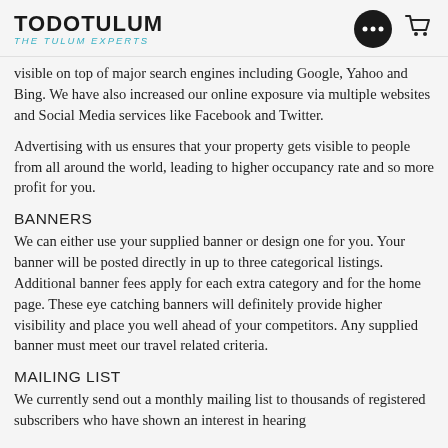TODOTULUM THE TULUM EXPERTS
visible on top of major search engines including Google, Yahoo and Bing. We have also increased our online exposure via multiple websites and Social Media services like Facebook and Twitter.
Advertising with us ensures that your property gets visible to people from all around the world, leading to higher occupancy rate and so more profit for you.
BANNERS
We can either use your supplied banner or design one for you. Your banner will be posted directly in up to three categorical listings. Additional banner fees apply for each extra category and for the home page. These eye catching banners will definitely provide higher visibility and place you well ahead of your competitors. Any supplied banner must meet our travel related criteria.
MAILING LIST
We currently send out a monthly mailing list to thousands of registered subscribers who have shown an interest in hearing